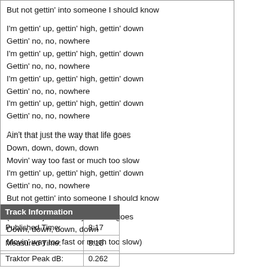But not gettin' into someone I should know

I'm gettin' up, gettin' high, gettin' down
Gettin' no, no, nowhere
I'm gettin' up, gettin' high, gettin' down
Gettin' no, no, nowhere
I'm gettin' up, gettin' high, gettin' down
Gettin' no, no, nowhere
I'm gettin' up, gettin' high, gettin' down
Gettin' no, no, nowhere

Ain't that just the way that life goes
Down, down, down, down
Movin' way too fast or much too slow
I'm gettin' up, gettin' high, gettin' down
Gettin' no, no, nowhere
But not gettin' into someone I should know

(Ain't that just the way that life goes
Down, down, down, down
Movin' way too fast or much too slow)
| Track Information |  |
| --- | --- |
| Published Time: | 8:17 |
| Measured Time: | 8:16 |
| Traktor Peak dB: | 0.262 |